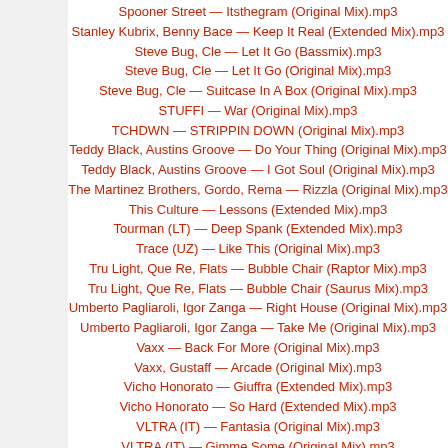Spooner Street — Itsthegram (Original Mix).mp3
Stanley Kubrix, Benny Bace — Keep It Real (Extended Mix).mp3
Steve Bug, Cle — Let It Go (Bassmix).mp3
Steve Bug, Cle — Let It Go (Original Mix).mp3
Steve Bug, Cle — Suitcase In A Box (Original Mix).mp3
STUFFI — War (Original Mix).mp3
TCHDWN — STRIPPIN DOWN (Original Mix).mp3
Teddy Black, Austins Groove — Do Your Thing (Original Mix).mp3
Teddy Black, Austins Groove — I Got Soul (Original Mix).mp3
The Martinez Brothers, Gordo, Rema — Rizzla (Original Mix).mp3
This Culture — Lessons (Extended Mix).mp3
Tourman (LT) — Deep Spank (Extended Mix).mp3
Trace (UZ) — Like This (Original Mix).mp3
Tru Light, Que Re, Flats — Bubble Chair (Raptor Mix).mp3
Tru Light, Que Re, Flats — Bubble Chair (Saurus Mix).mp3
Umberto Pagliaroli, Igor Zanga — Right House (Original Mix).mp3
Umberto Pagliaroli, Igor Zanga — Take Me (Original Mix).mp3
Vaxx — Back For More (Original Mix).mp3
Vaxx, Gustaff — Arcade (Original Mix).mp3
Vicho Honorato — Giuffra (Extended Mix).mp3
Vicho Honorato — So Hard (Extended Mix).mp3
VLTRA (IT) — Fantasia (Original Mix).mp3
VLTRA (IT) — Gimme Some (Original Mix).mp3
VLTRA (IT) — Voodoo (Original Mix).mp3
Volkan Uca, Aras Tuna — Out Of Me (Extended Mix).mp3